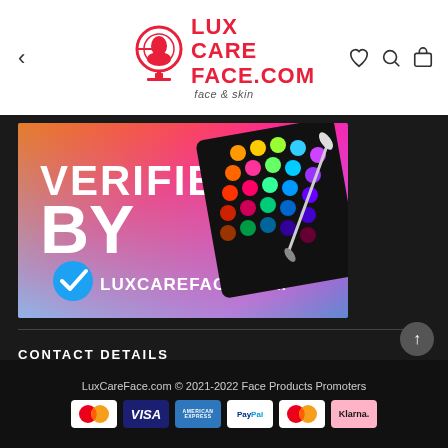[Figure (logo): LuxCareFace.com logo with circular face icon and red text, tagline 'face & skin']
[Figure (infographic): Colorful banner with text 'VERIFIED BY LUXCAREFACE.COM' with blue verification checkmark and makeup palette image on right]
CONTACT DETAILS
LuxCareFace.com © 2021-2022 Face Products Promoters
[Figure (infographic): Payment method icons: Mastercard, Visa, American Express, PayPal, Mastercard, Klarna]